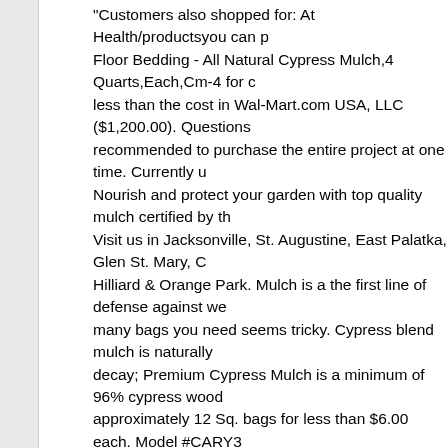Customers also shopped for: At Health/productsyou can purchase Floor Bedding - All Natural Cypress Mulch,4 Quarts,Each,Cm-4 for less than the cost in Wal-Mart.com USA, LLC ($1,200.00). Questions recommended to purchase the entire project at one time. Currently u Nourish and protect your garden with top quality mulch certified by t Visit us in Jacksonville, St. Augustine, East Palatka, Glen St. Mary, Hilliard & Orange Park. Mulch is a the first line of defense against w many bags you need seems tricky. Cypress blend mulch is naturally decay; Premium Cypress Mulch is a minimum of 96% cypress wood approximately 12 Sq. bags for less than $6.00 each. Model #CARY3 mulch made from the wood of bald cypress or pond cypress trees. P 1 of 1 . MSRP U/M / EA Price $6.99 Core Part Number 72242 Quant Cypress mulch is known for its attractive blonde color but can be mo mulches. 406-216-5050 info@greatfallsace.com I took it..." Nov 2, 2 tips from 79 visitors to Home Brite Ace Hardware. Organic mulches k contribute to soil health. "I had a broken Craftsman wrench that I bo Size: 2.0 cu. It has a neutral pH and Search. Share to Facebook Pos Email. Countryside Accents. Item #103033. Buy Plastic Mulch Ceda but can be safely dyed to a brighter red, black or brown. Capital Fore Cedar Mulch 3 Cu' $ 4 99 ... Blue Flamingo 77777 Premium Cypress Buy Rubber Mulch. Us Mulch Ltd 112ah40 "ace" Cypress Mulch by U